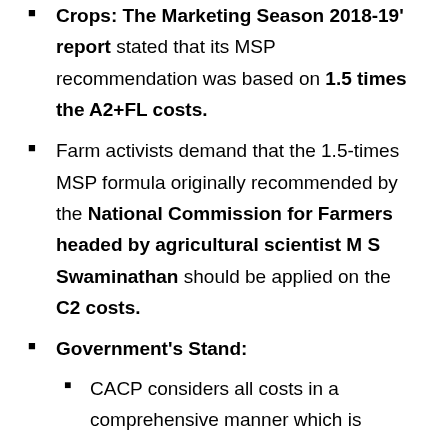'Crops: The Marketing Season 2018-19' report stated that its MSP recommendation was based on 1.5 times the A2+FL costs.
Farm activists demand that the 1.5-times MSP formula originally recommended by the National Commission for Farmers headed by agricultural scientist M S Swaminathan should be applied on the C2 costs.
Government's Stand:
CACP considers all costs in a comprehensive manner which is